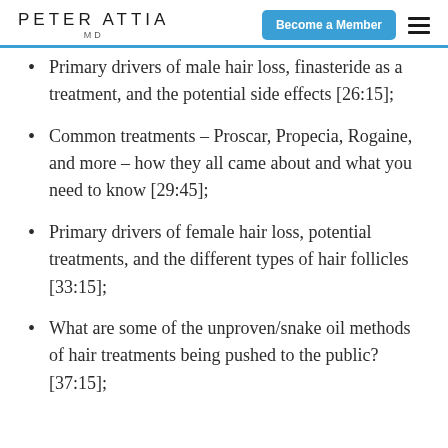PETER ATTIA MD | Become a Member
Primary drivers of male hair loss, finasteride as a treatment, and the potential side effects [26:15];
Common treatments – Proscar, Propecia, Rogaine, and more – how they all came about and what you need to know [29:45];
Primary drivers of female hair loss, potential treatments, and the different types of hair follicles [33:15];
What are some of the unproven/snake oil methods of hair treatments being pushed to the public? [37:15];